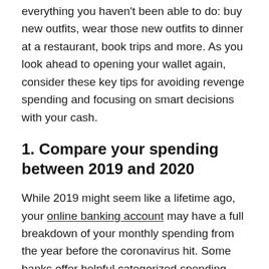everything you haven't been able to do: buy new outfits, wear those new outfits to dinner at a restaurant, book trips and more. As you look ahead to opening your wallet again, consider these key tips for avoiding revenge spending and focusing on smart decisions with your cash.
1. Compare your spending between 2019 and 2020
While 2019 might seem like a lifetime ago, your online banking account may have a full breakdown of your monthly spending from the year before the coronavirus hit. Some banks offer helpful categorized spending visualization tools to show how much you're spending at restaurants,